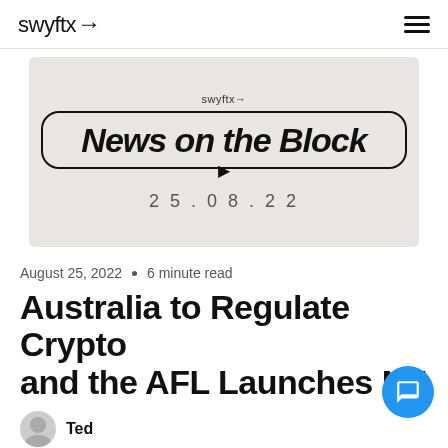swyftx
[Figure (illustration): Swyftx 'News on the Block' branded image with date 25.08.22 on grey rounded background]
August 25, 2022  •  6 minute read
Australia to Regulate Crypto and the AFL Launches NF...
Ted